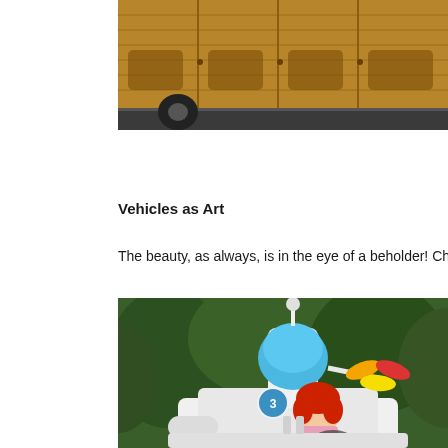[Figure (photo): Close-up photo of a wooden vehicle or car model with laser-cut wood panels and mechanical details, viewed from the side on a road surface.]
Vehicles as Art
The beauty, as always, is in the eye of a beholder! Check out these n
[Figure (photo): Photo of a person wearing red hair and pink outfit driving a whimsical art car designed to look like a cartoon robot or spacecraft, with blue dome, propeller umbrella, and white body, set against a green leafy background.]